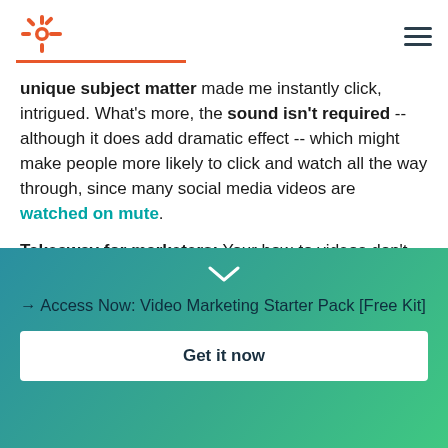HubSpot logo and navigation
unique subject matter made me instantly click, intrigued. What's more, the sound isn't required -- although it does add dramatic effect -- which might make people more likely to click and watch all the way through, since many social media videos are watched on mute.
Takeaway for marketers: Your how-to videos don't
[Figure (other): Teal to green gradient CTA section with chevron down arrow, access link text, and Get it now button]
→ Access Now: Video Marketing Starter Pack [Free Kit]
Get it now